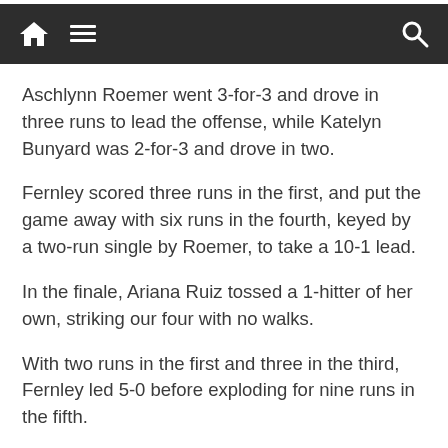Navigation bar with home, menu, and search icons
Aschlynn Roemer went 3-for-3 and drove in three runs to lead the offense, while Katelyn Bunyard was 2-for-3 and drove in two.
Fernley scored three runs in the first, and put the game away with six runs in the fourth, keyed by a two-run single by Roemer, to take a 10-1 lead.
In the finale, Ariana Ruiz tossed a 1-hitter of her own, striking our four with no walks.
With two runs in the first and three in the third, Fernley led 5-0 before exploding for nine runs in the fifth.
Lexi Nelson and Natalie Stewart each drove in three runs, and Colby Johnson drove in two.